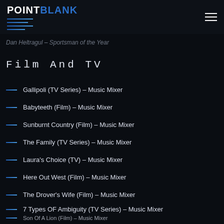Point Blank
Mr. ... Year Old / La ... ing Up The Stairs
Dan Heltragul – Sportsman of the Year
Film And TV
Gallipoli (TV Series) – Music Mixer
Babyteeth (Film) – Music Mixer
Sunburnt Country (Film) – Music Mixer
The Family (TV Series) – Music Mixer
Laura's Choice (TV) – Music Mixer
Here Out West (Film) – Music Mixer
The Drover's Wife (Film) – Music Mixer
7 Types OF Ambiguity (TV Series) – Music Mixer
Son Of A Lion (Film) – Music Mixer
Power Games (TV Series) – Music Mixer